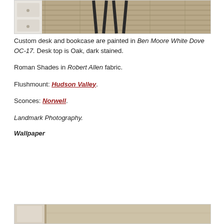[Figure (photo): Top portion of interior photo showing chair legs and hardwood floor with wood grain pattern]
Custom desk and bookcase are painted in Ben Moore White Dove OC-17. Desk top is Oak, dark stained.
Roman Shades in Robert Allen fabric.
Flushmount: Hudson Valley.
Sconces: Norwell.
Landmark Photography.
Wallpaper
[Figure (photo): Bottom portion of interior photo, partial view of a room with decorative elements]